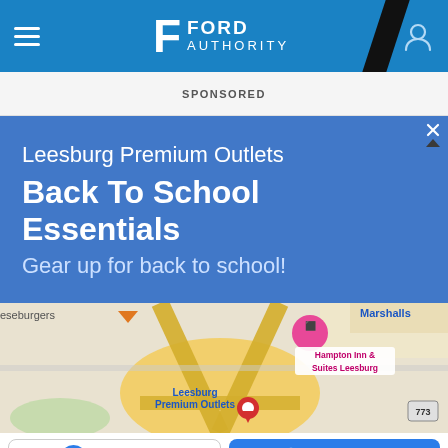Ford Authority
SPONSORED
[Figure (screenshot): Advertisement for Leesburg Premium Outlets Back To School Essentials on a blue background, with a Google Maps view showing Leesburg Premium Outlets location with a red pin and Hampton Inn & Suites Leesburg pink pin]
Store info
Directions